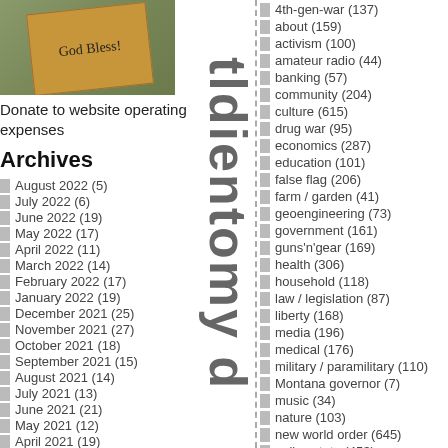[Figure (photo): Photo of a cardboard sign reading 'God Bless!']
Donate to website operating expenses
Archives
August 2022 (5)
July 2022 (6)
June 2022 (19)
May 2022 (17)
April 2022 (11)
March 2022 (14)
February 2022 (17)
January 2022 (19)
December 2021 (25)
November 2021 (27)
October 2021 (18)
September 2021 (15)
August 2021 (14)
July 2021 (13)
June 2021 (21)
May 2021 (12)
April 2021 (19)
March 2021 (23)
February 2021 (10)
4th-gen-war (137)
about (159)
activism (100)
amateur radio (44)
banking (57)
community (204)
culture (615)
drug war (95)
economics (287)
education (101)
false flag (206)
farm / garden (41)
geoengineering (73)
government (161)
guns'n'gear (169)
health (306)
household (118)
law / legislation (87)
liberty (168)
media (196)
medical (176)
military / paramilitary (110)
Montana governor (7)
music (34)
nature (103)
new world order (645)
police state (453)